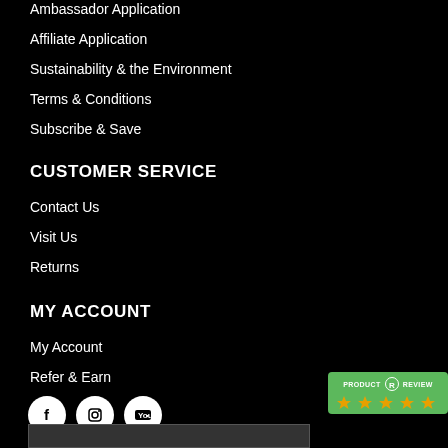Ambassador Application
Affiliate Application
Sustainability & the Environment
Terms & Conditions
Subscribe & Save
CUSTOMER SERVICE
Contact Us
Visit Us
Returns
MY ACCOUNT
My Account
Refer & Earn
[Figure (illustration): Social media icons: Facebook, Instagram, YouTube in white circles on black background]
[Figure (logo): Product Review badge with green background, stars rating]
[Figure (screenshot): Bottom banner image strip]